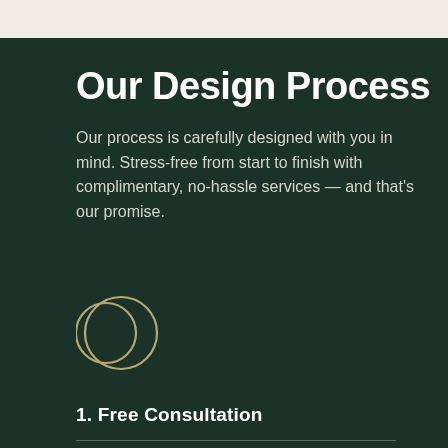Our Design Process
Our process is carefully designed with you in mind. Stress-free from start to finish with complimentary, no-hassle services — and that's our promise.
[Figure (illustration): Decorative crescent/circle icon in gold/bronze outline on dark green background]
1. Free Consultation
We get to know you and your Unique needs. We offer an in-home or virtual complimentary consultation to discover the look and feel you want...